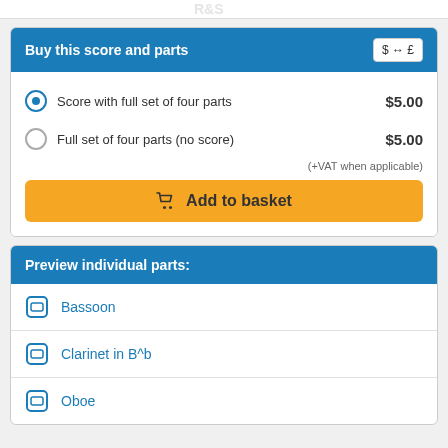[Figure (logo): Partial logo at top of page]
Buy this score and parts
Score with full set of four parts  $5.00
Full set of four parts (no score)  $5.00
(+VAT when applicable)
Add to basket
Preview individual parts:
Bassoon
Clarinet in B^b
Oboe